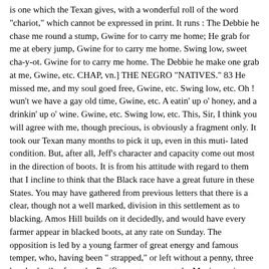is one which the Texan gives, with a wonderful roll of the word "chariot," which cannot be expressed in print. It runs : The Debbie he chase me round a stump, Gwine for to carry me home; He grab for me at ebery jump, Gwine for to carry me home. Swing low, sweet cha-y-ot. Gwine for to carry me home. The Debbie he make one grab at me, Gwine, etc. CHAP, vn.] THE NEGRO "NATIVES." 83 He missed me, and my soul goed free, Gwine, etc. Swing low, etc. Oh ! wun't we have a gay old time, Gwine, etc. A eatin' up o' honey, and a drinkin' up o' wine. Gwine, etc. Swing low, etc. This, Sir, I think you will agree with me, though precious, is obviously a fragment only. It took our Texan many months to pick it up, even in this muti- lated condition. But, after all, Jeff's character and capacity come out most in the direction of boots. It is from his attitude with regard to them that I incline to think that the Black race have a great future in these States. You may have gathered from previous letters that there is a clear, though not a well marked, division in this settlement as to blacking. Amos Hill builds on it decidedly, and would have every farmer appear in blacked boots, at any rate on Sunday. The opposition is led by a young farmer of great energy and famous temper, who, having been " strapped," or left without a penny, three hundred miles from the Pacific coast, amongst the Mexican mines, and having made his hands keep his head in the wildest of earthly settle- ments, has a strong contempt for all amenities of clothing, which is shared by the geologist and others. How the point will be settled at last I